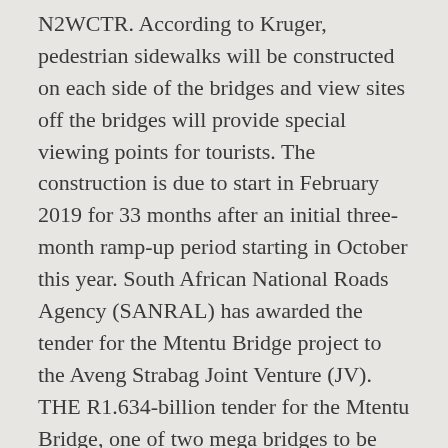N2WCTR. According to Kruger, pedestrian sidewalks will be constructed on each side of the bridges and view sites off the bridges will provide special viewing points for tourists. The construction is due to start in February 2019 for 33 months after an initial three-month ramp-up period starting in October this year. South African National Roads Agency (SANRAL) has awarded the tender for the Mtentu Bridge project to the Aveng Strabag Joint Venture (JV). THE R1.634-billion tender for the Mtentu Bridge, one of two mega bridges to be built as part of the South African National Roads Agency (Sanral) N2 Wild Coast road project, has been awarded. McLachlan